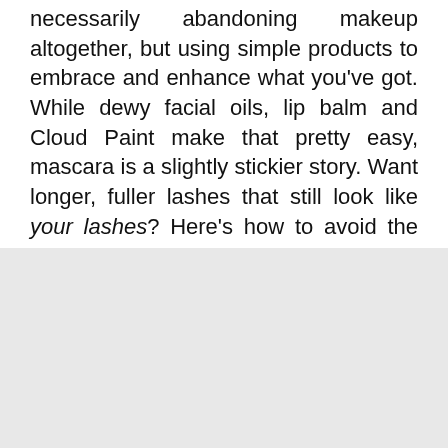necessarily abandoning makeup altogether, but using simple products to embrace and enhance what you've got. While dewy facial oils, lip balm and Cloud Paint make that pretty easy, mascara is a slightly stickier story. Want longer, fuller lashes that still look like your lashes? Here's how to avoid the clump.
[Figure (photo): Gray/light colored image area occupying the lower half of the page]